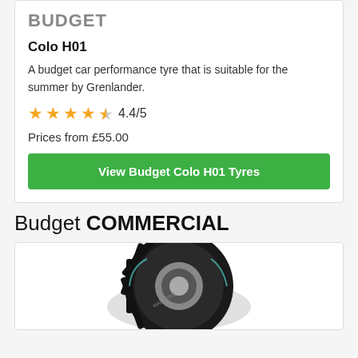BUDGET
Colo H01
A budget car performance tyre that is suitable for the summer by Grenlander.
4.4/5
Prices from £55.00
View Budget Colo H01 Tyres
Budget COMMERCIAL
[Figure (photo): A commercial van tyre viewed from a low angle]